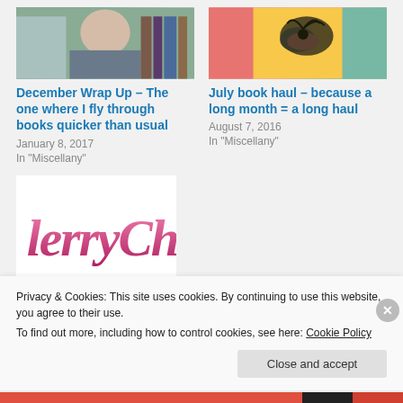[Figure (photo): Photo of a person holding books in front of a bookshelf]
[Figure (photo): Colorful artwork with a bird nest and bright background colors]
December Wrap Up – The one where I fly through books quicker than usual
January 8, 2017
In "Miscellany"
July book haul – because a long month = a long haul
August 7, 2016
In "Miscellany"
[Figure (logo): Lerry Chris logo in pink cursive script on white background]
Privacy & Cookies: This site uses cookies. By continuing to use this website, you agree to their use.
To find out more, including how to control cookies, see here: Cookie Policy
Close and accept